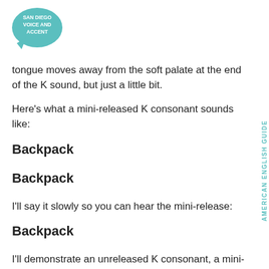[Figure (logo): San Diego Voice and Accent logo — teal speech bubble with white text reading SAN DIEGO VOICE AND ACCENT]
tongue moves away from the soft palate at the end of the K sound, but just a little bit.
Here's what a mini-released K consonant sounds like:
Backpack
Backpack
I'll say it slowly so you can hear the mini-release:
Backpack
I'll demonstrate an unreleased K consonant, a mini-released K consonant, and a fully released K consonan
AMERICAN ENGLISH GUIDE